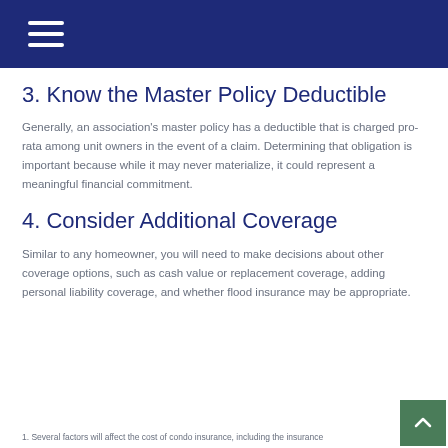3. Know the Master Policy Deductible
Generally, an association's master policy has a deductible that is charged pro-rata among unit owners in the event of a claim. Determining that obligation is important because while it may never materialize, it could represent a meaningful financial commitment.
4. Consider Additional Coverage
Similar to any homeowner, you will need to make decisions about other coverage options, such as cash value or replacement coverage, adding personal liability coverage, and whether flood insurance may be appropriate.
1. Several factors will affect the cost of condo insurance, including the insurance